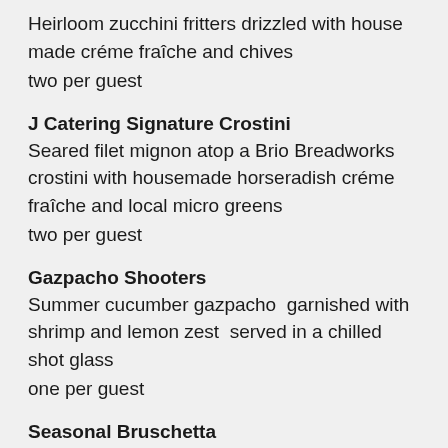Heirloom zucchini fritters drizzled with house made créme fraîche and chives
two per guest
J Catering Signature Crostini
Seared filet mignon atop a Brio Breadworks crostini with housemade horseradish créme fraîche and local micro greens
two per guest
Gazpacho Shooters
Summer cucumber gazpacho  garnished with shrimp and lemon zest  served in a chilled shot glass
one per guest
Seasonal Bruschetta
Brio Breadworks crostini with heirloom tomato, extra virgin olive oil, garlic and basil
two per guest